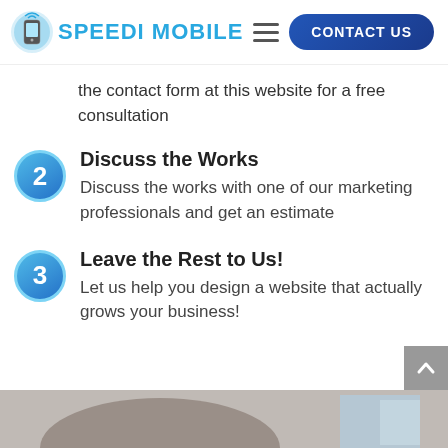SPEEDI MOBILE | CONTACT US
the contact form at this website for a free consultation
2. Discuss the Works — Discuss the works with one of our marketing professionals and get an estimate
3. Leave the Rest to Us! — Let us help you design a website that actually grows your business!
[Figure (photo): Partial bottom photo strip showing people or a business scene in grayscale/muted tones]